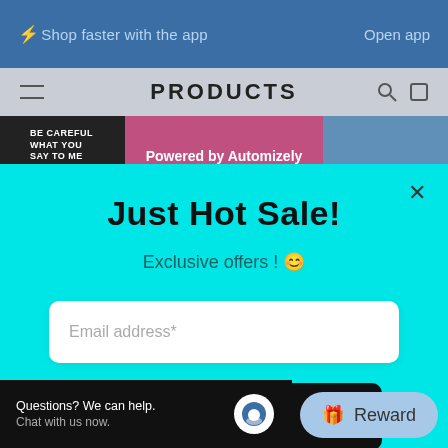⚡Shop faster with the app   Open app
PRODUCTS
Powered by Automizely
Just Hot Sale!
Exclusive offers ! 😊
Email address*
Get them now
Questions? We can help. Chat with us now.
Reward